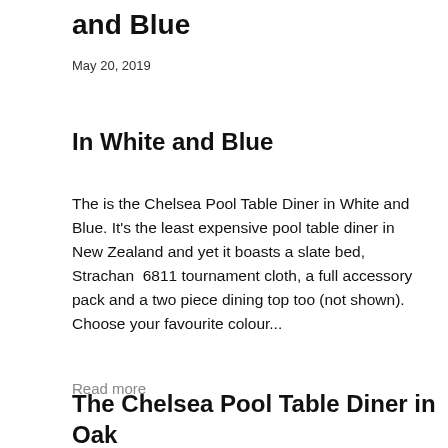and Blue
May 20, 2019
In White and Blue
The is the Chelsea Pool Table Diner in White and Blue. It's the least expensive pool table diner in New Zealand and yet it boasts a slate bed, Strachan  6811 tournament cloth, a full accessory pack and a two piece dining top too (not shown). Choose your favourite colour...
Read more
The Chelsea Pool Table Diner in Oak and Red